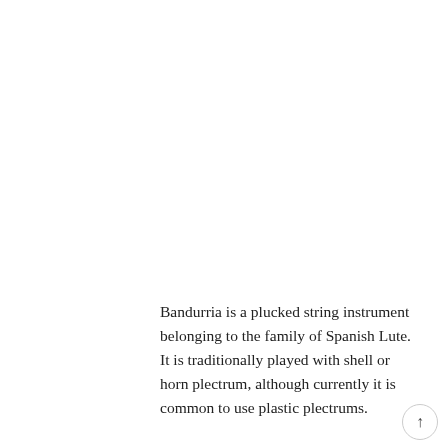Bandurria is a plucked string instrument belonging to the family of Spanish Lute. It is traditionally played with shell or horn plectrum, although currently it is common to use plastic plectrums.